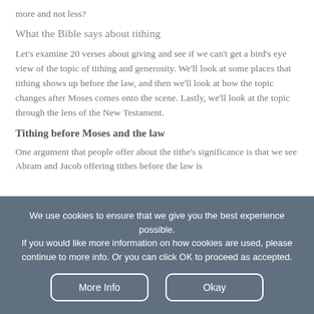more and not less?
What the Bible says about tithing
Let's examine 20 verses about giving and see if we can't get a bird's eye view of the topic of tithing and generosity. We'll look at some places that tithing shows up before the law, and then we'll look at how the topic changes after Moses comes onto the scene. Lastly, we'll look at the topic through the lens of the New Testament.
Tithing before Moses and the law
One argument that people offer about the tithe's significance is that we see Abram and Jacob offering tithes before the law is
We use cookies to ensure that we give you the best experience possible.
If you would like more information on how cookies are used, please continue to more info. Or you can click OK to proceed as accepted.
More Info
Okay